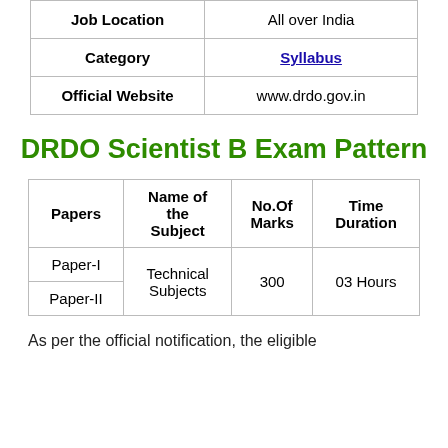|  |  |
| --- | --- |
| Job Location | All over India |
| Category | Syllabus |
| Official Website | www.drdo.gov.in |
DRDO Scientist B Exam Pattern
| Papers | Name of the Subject | No.Of Marks | Time Duration |
| --- | --- | --- | --- |
| Paper-I | Technical Subjects | 300 | 03 Hours |
| Paper-II | Technical Subjects | 300 | 03 Hours |
As per the official notification, the eligible